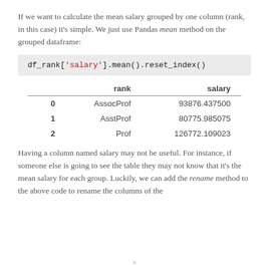If we want to calculate the mean salary grouped by one column (rank, in this case) it's simple. We just use Pandas mean method on the grouped dataframe:
|  | rank | salary |
| --- | --- | --- |
| 0 | AssocProf | 93876.437500 |
| 1 | AsstProf | 80775.985075 |
| 2 | Prof | 126772.109023 |
Having a column named salary may not be useful. For instance, if someone else is going to see the table they may not know that it's the mean salary for each group. Luckily, we can add the rename method to the above code to rename the columns of the
x